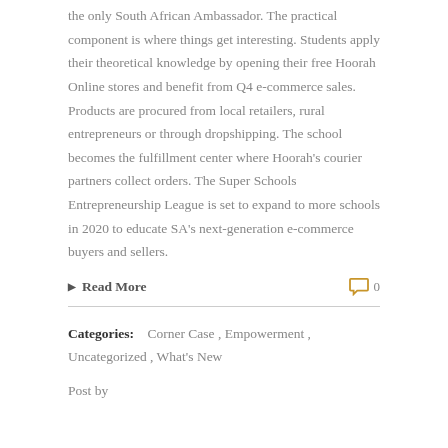the only South African Ambassador. The practical component is where things get interesting. Students apply their theoretical knowledge by opening their free Hoorah Online stores and benefit from Q4 e-commerce sales. Products are procured from local retailers, rural entrepreneurs or through dropshipping. The school becomes the fulfillment center where Hoorah's courier partners collect orders. The Super Schools Entrepreneurship League is set to expand to more schools in 2020 to educate SA's next-generation e-commerce buyers and sellers.
Read More
Categories: Corner Case , Empowerment , Uncategorized , What's New
Post by